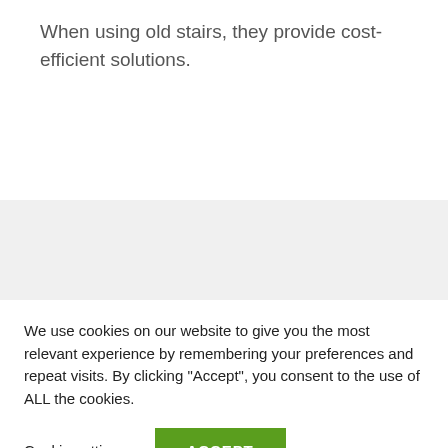When using old stairs, they provide cost-efficient solutions.
We use cookies on our website to give you the most relevant experience by remembering your preferences and repeat visits. By clicking “Accept”, you consent to the use of ALL the cookies.
Cookie settings
ACCEPT